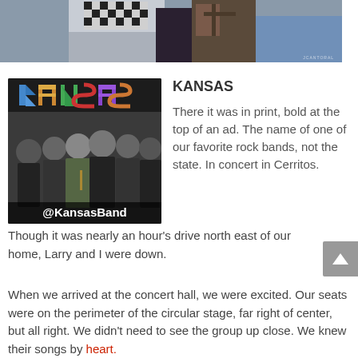[Figure (photo): Top portion of a photo showing a group of people (torsos visible), wearing casual clothing including checkered and patterned shirts, with a watermark in the bottom right corner]
[Figure (photo): Photo of the band Kansas with their stylized logo at the top and Twitter handle @KansasBand at the bottom, showing six band members posed together in dark clothing]
KANSAS
There it was in print, bold at the top of an ad. The name of one of our favorite rock bands, not the state. In concert in Cerritos.
Though it was nearly an hour's drive north east of our home, Larry and I were down.
When we arrived at the concert hall, we were excited. Our seats were on the perimeter of the circular stage, far right of center, but all right. We didn't need to see the group up close. We knew their songs by heart.